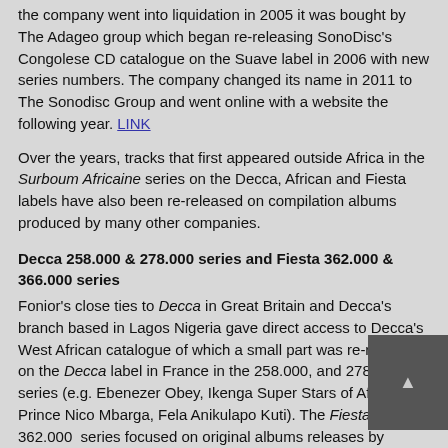the company went into liquidation in 2005 it was bought by The Adageo group which began re-releasing SonoDisc's Congolese CD catalogue on the Suave label in 2006 with new series numbers. The company changed its name in 2011 to The Sonodisc Group and went online with a website the following year. LINK
Over the years, tracks that first appeared outside Africa in the Surboum Africaine series on the Decca, African and Fiesta labels have also been re-released on compilation albums produced by many other companies.
Decca 258.000 & 278.000 series and Fiesta 362.000 & 366.000 series
Fonior's close ties to Decca in Great Britain and Decca's branch based in Lagos Nigeria gave direct access to Decca's West African catalogue of which a small part was re-released on the Decca label in France in the 258.000, and 278.000 series (e.g. Ebenezer Obey, Ikenga Super Stars of Africa, Prince Nico Mbarga, Fela Anikulapo Kuti). The Fiesta label's 362.000  series focused on original albums releases by Cameroonian artists (e.g. André Marie Tala, Kemayo and Manu Dibango) whereas the Fiesta 366.000 series featured salsa artists and music from Côte d'Ivoire and  the Central African Republic.
Historical legacy
Together with the Congolese Ngoma label's French vinyl releases (1960-1971) and Pathé-Marconi EMI's French releases of Congolese music (1960-1979), it was the Surboum Africaine series on the Decca, African and Fiesta labels f…